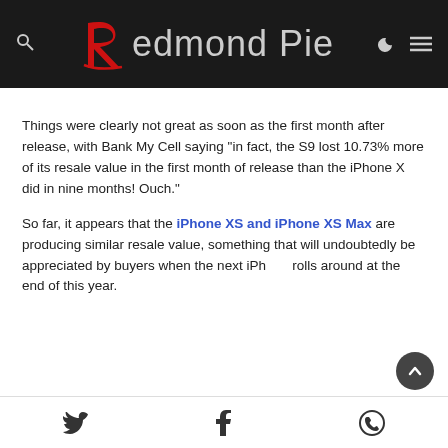Redmond Pie
Things were clearly not great as soon as the first month after release, with Bank My Cell saying “in fact, the S9 lost 10.73% more of its resale value in the first month of release than the iPhone X did in nine months! Ouch.”
So far, it appears that the iPhone XS and iPhone XS Max are producing similar resale value, something that will undoubtedly be appreciated by buyers when the next iPhone rolls around at the end of this year.
Twitter Facebook WhatsApp